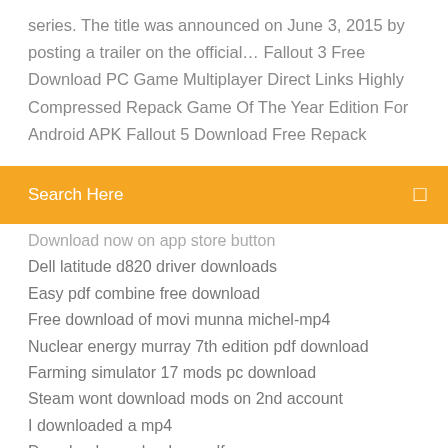series. The title was announced on June 3, 2015 by posting a trailer on the official… Fallout 3 Free Download PC Game Multiplayer Direct Links Highly Compressed Repack Game Of The Year Edition For Android APK Fallout 5 Download Free Repack
Search Here
Download now on app store button
Dell latitude d820 driver downloads
Easy pdf combine free download
Free download of movi munna michel-mp4
Nuclear energy murray 7th edition pdf download
Farming simulator 17 mods pc download
Steam wont download mods on 2nd account
I downloaded a mp4
Download yuzu book as pdf
Automatische downloads android verhindern
The incredible hulk game pc download